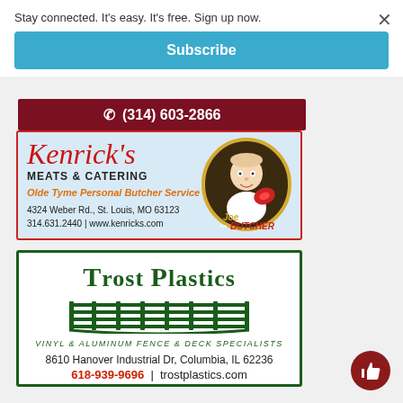Stay connected. It's easy. It's free. Sign up now.
Subscribe
✆ (314) 603-2866
[Figure (logo): Kenrick's Meats & Catering advertisement with Joe the Butcher mascot. Olde Tyme Personal Butcher Service. 4324 Weber Rd., St. Louis, MO 63123. 314.631.2440 | www.kenricks.com]
[Figure (logo): Trost Plastics advertisement. Vinyl & Aluminum Fence & Deck Specialists. 8610 Hanover Industrial Dr, Columbia, IL 62236. 618-939-9696 | trostplastics.com]